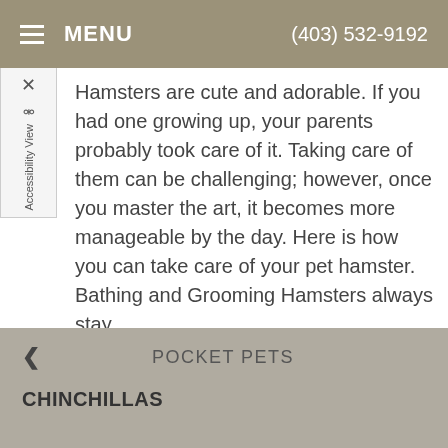MENU   (403) 532-9192
Hamsters are cute and adorable. If you had one growing up, your parents probably took care of it. Taking care of them can be challenging; however, once you master the art, it becomes more manageable by the day. Here is how you can take care of your pet hamster. Bathing and Grooming Hamsters always stay
Read more
< POCKET PETS
CHINCHILLAS